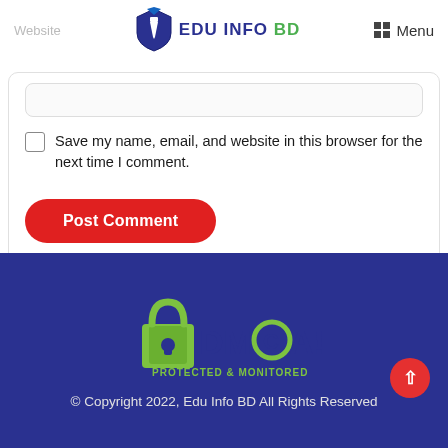Website | Edu Info BD | Menu
Save my name, email, and website in this browser for the next time I comment.
Post Comment
[Figure (logo): DMCA Protected & Monitored badge logo with padlock icon]
© Copyright 2022, Edu Info BD All Rights Reserved